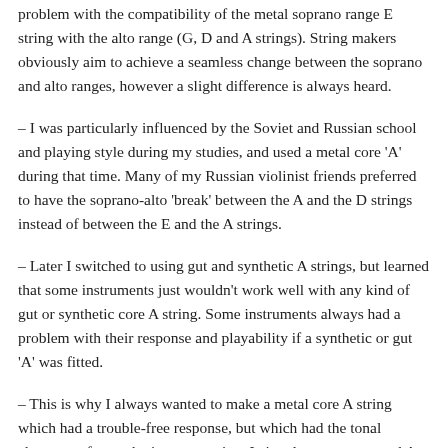problem with the compatibility of the metal soprano range E string with the alto range (G, D and A strings). String makers obviously aim to achieve a seamless change between the soprano and alto ranges, however a slight difference is always heard.
– I was particularly influenced by the Soviet and Russian school and playing style during my studies, and used a metal core 'A' during that time. Many of my Russian violinist friends preferred to have the soprano-alto 'break' between the A and the D strings instead of between the E and the A strings.
– Later I switched to using gut and synthetic A strings, but learned that some instruments just wouldn't work well with any kind of gut or synthetic core A string. Some instruments always had a problem with their response and playability if a synthetic or gut 'A' was fitted.
– This is why I always wanted to make a metal core A string which had a trouble-free response, but which had the tonal character of a synthetic or gut string. I aimed to create a metal A which would sound warm even under maximum bow pressure. Developing our new metal A string took longer than I expected, but we have now